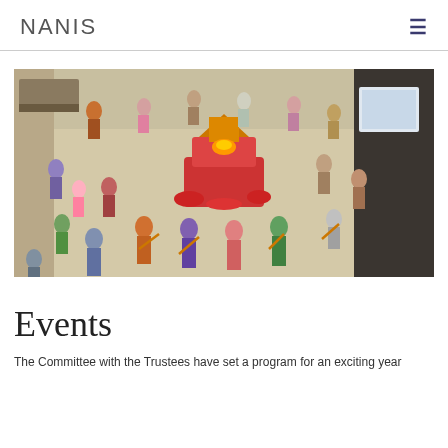NANIS
[Figure (photo): Aerial view of people in traditional Indian attire performing Garba/Dandiya dance in a circle around a decorated shrine in a large hall.]
Events
The Committee with the Trustees have set a program for an exciting year